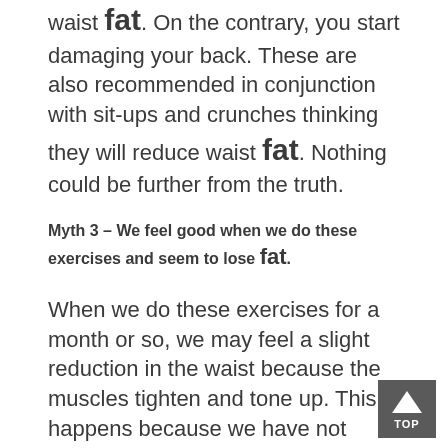waist fat. On the contrary, you start damaging your back. These are also recommended in conjunction with sit-ups and crunches thinking they will reduce waist fat. Nothing could be further from the truth.
Myth 3 – We feel good when we do these exercises and seem to lose fat.
When we do these exercises for a month or so, we may feel a slight reduction in the waist because the muscles tighten and tone up. This happens because we have not used them properly before. So they will firm up and 'pull in' giving a